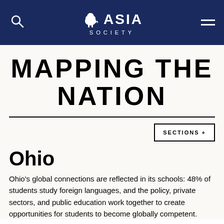ASIA SOCIETY
MAPPING THE NATION
SECTIONS +
Ohio
Ohio's global connections are reflected in its schools: 48% of students study foreign languages, and the policy, private sectors, and public education work together to create opportunities for students to become globally competent.